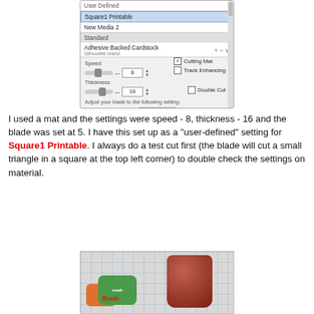[Figure (screenshot): Silhouette cutting software settings dialog showing media list (User Defined, Square1 Printable selected, New Media 2, Standard, Adhesive Backed Cardstock Silhouette brand), Speed slider set to 8, Thickness slider set to 16, Cutting Mat checkbox checked, Track Enhancing unchecked, Double Cut unchecked, blade adjustment dial showing 4-5-6 with 5 selected, Blade button.]
I used a mat and the settings were speed - 8, thickness - 16 and the blade was set at 5.  I have this set up as a "user-defined" setting for Square1 Printable.  I always do a test cut first (the blade will cut a small triangle in a square at the top left corner) to double check the settings on material.
[Figure (photo): Photo showing printed labels on a cutting mat next to a jar with a red lid. Labels include green and orange designs with cursive text reading 'Reads'.]